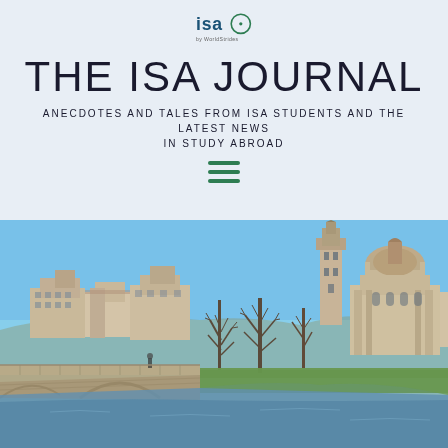[Figure (logo): ISA (International Studies Abroad) logo with circular icon and 'by WorldStrides' text below]
THE ISA JOURNAL
ANECDOTES AND TALES FROM ISA STUDENTS AND THE LATEST NEWS IN STUDY ABROAD
[Figure (illustration): Hamburger menu icon with three horizontal green lines]
[Figure (photo): Scenic photograph of Salamanca, Spain showing the Roman bridge and cathedral skyline with bare winter trees and a river in the foreground under a clear blue sky]